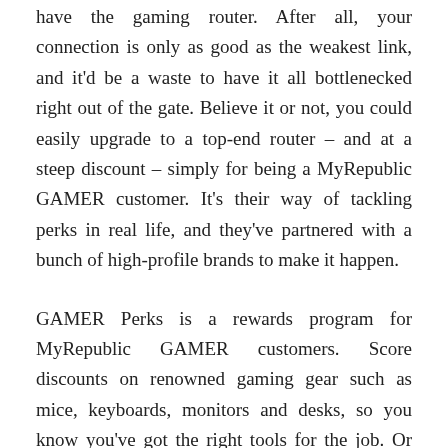have the gaming router. After all, your connection is only as good as the weakest link, and it'd be a waste to have it all bottlenecked right out of the gate. Believe it or not, you could easily upgrade to a top-end router – and at a steep discount – simply for being a MyRepublic GAMER customer. It's their way of tackling perks in real life, and they've partnered with a bunch of high-profile brands to make it happen.
GAMER Perks is a rewards program for MyRepublic GAMER customers. Score discounts on renowned gaming gear such as mice, keyboards, monitors and desks, so you know you've got the right tools for the job. Or how about expanding your arsenal with a gaming console for all those award-winning exclusives, also offered at exclusive discounts? Even if you don't want to spend, those GAMER Perks include